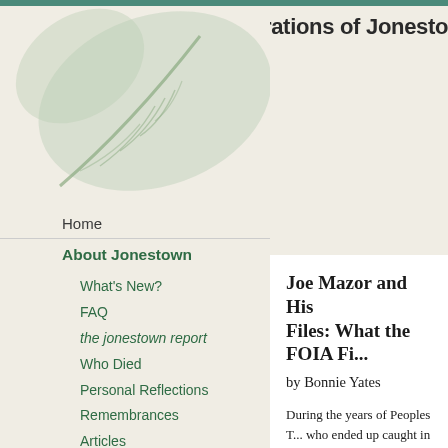Alternative Considerations of Jonestown
[Figure (illustration): Large tropical leaf illustration in muted green tones in the upper left background area]
Home
About Jonestown
What's New?
FAQ
the jonestown report
Who Died
Personal Reflections
Remembrances
Articles
Jonestown in the Arts
Commentary & Opinion
Primary Sources
Joe Mazor and His Files: What the FOIA Fi...
by Bonnie Yates
During the years of Peoples T... who ended up caught in its o... the Temple, and there were fo... reasons, both supporters and ... groups were willing to use th...